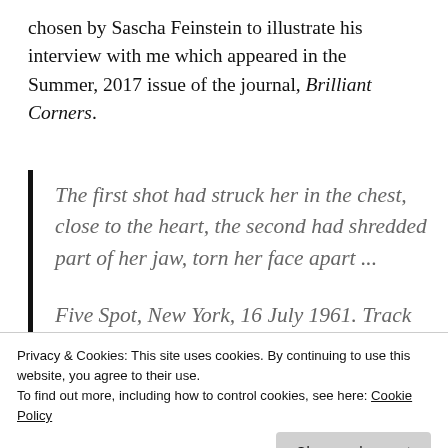chosen by Sascha Feinstein to illustrate his interview with me which appeared in the Summer, 2017 issue of the journal, Brilliant Corners.
The first shot had struck her in the chest, close to the heart, the second had shredded part of her jaw, torn her face apart ...
Finally, in the living room, he burrowed through the shelves of albums and CDs.
Five Spot, New York, 16 July 1961. Track
Privacy & Cookies: This site uses cookies. By continuing to use this website, you agree to their use.
To find out more, including how to control cookies, see here: Cookie Policy